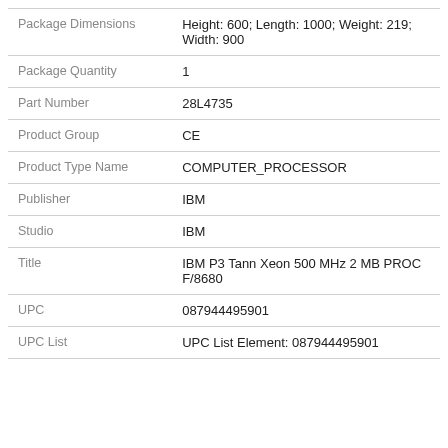| Field | Value |
| --- | --- |
| Package Dimensions | Height: 600; Length: 1000; Weight: 219; Width: 900 |
| Package Quantity | 1 |
| Part Number | 28L4735 |
| Product Group | CE |
| Product Type Name | COMPUTER_PROCESSOR |
| Publisher | IBM |
| Studio | IBM |
| Title | IBM P3 Tann Xeon 500 MHz 2 MB PROC F/8680 |
| UPC | 087944495901 |
| UPC List | UPC List Element: 087944495901 |